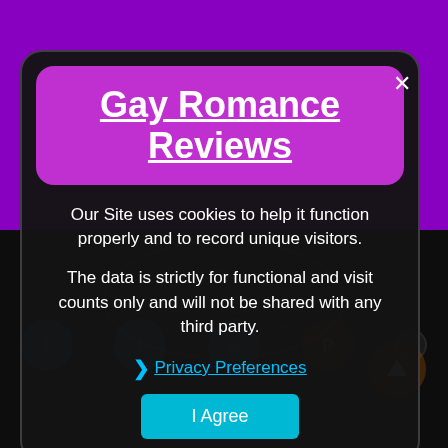Gay Romance Reviews
Our Site uses cookies to help it function properly and to record unique visitors.
The data is strictly for functional and visit counts only and will not be shared with any third party.
❯ Privacy Preferences
I Agree